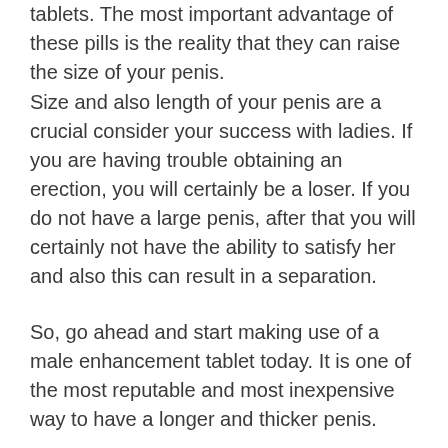tablets. The most important advantage of these pills is the reality that they can raise the size of your penis.
Size and also length of your penis are a crucial consider your success with ladies. If you are having trouble obtaining an erection, you will certainly be a loser. If you do not have a large penis, after that you will certainly not have the ability to satisfy her and also this can result in a separation.
So, go ahead and start making use of a male enhancement tablet today. It is one of the most reputable and most inexpensive way to have a longer and thicker penis.